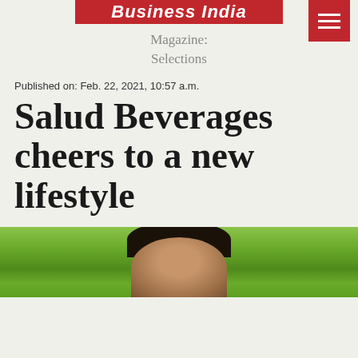Business India
Magazine:
Selections
Published on: Feb. 22, 2021, 10:57 a.m.
Salud Beverages cheers to a new lifestyle
[Figure (photo): Partially visible photograph of a person in front of green tropical leaves, cropped at the bottom of the header area.]